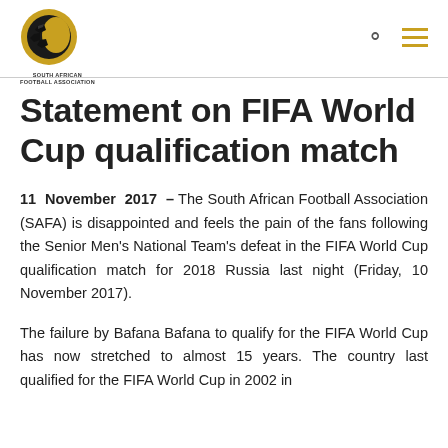[Figure (logo): South African Football Association logo with circular black and gold emblem and text 'SOUTH AFRICAN FOOTBALL ASSOCIATION' below]
Statement on FIFA World Cup qualification match
11 November 2017 – The South African Football Association (SAFA) is disappointed and feels the pain of the fans following the Senior Men's National Team's defeat in the FIFA World Cup qualification match for 2018 Russia last night (Friday, 10 November 2017).
The failure by Bafana Bafana to qualify for the FIFA World Cup has now stretched to almost 15 years. The country last qualified for the FIFA World Cup in 2002 in